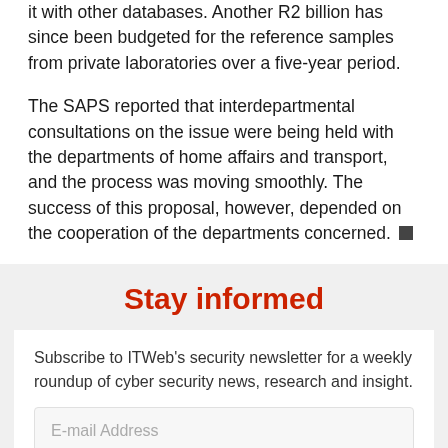it with other databases. Another R2 billion has since been budgeted for the reference samples from private laboratories over a five-year period.
The SAPS reported that interdepartmental consultations on the issue were being held with the departments of home affairs and transport, and the process was moving smoothly. The success of this proposal, however, depended on the cooperation of the departments concerned. ■
Stay informed
Subscribe to ITWeb's security newsletter for a weekly roundup of cyber security news, research and insight.
E-mail Address